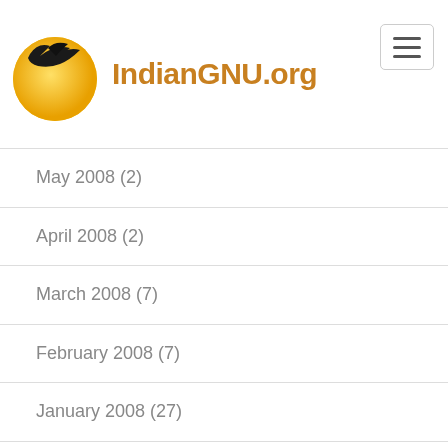[Figure (logo): IndianGNU.org logo with yellow sun and black bird silhouette]
May 2008 (2)
April 2008 (2)
March 2008 (7)
February 2008 (7)
January 2008 (27)
December 2007 (19)
November 2007 (8)
October 2007 (4)
September 2007 (5)
August 2007 (4)